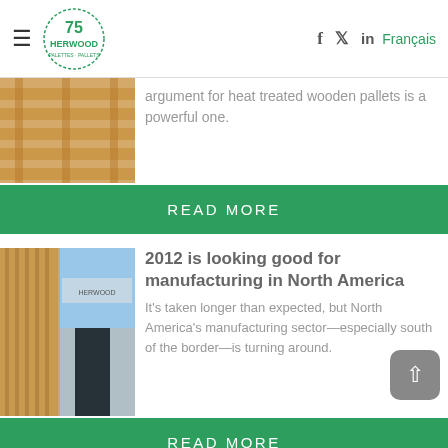Herwood Pallets - navigation header with hamburger menu, logo, social icons (f, twitter, in), and Français language link
argument for heat treated wooden pallets is a powerful one.
READ MORE
2012 is looking good for manufacturing in North America
It's taken longer than expected, but North America's manufacturing sector—especially south of the border—is turning around.
READ MORE
The importance of custom-built wood pallets and crates